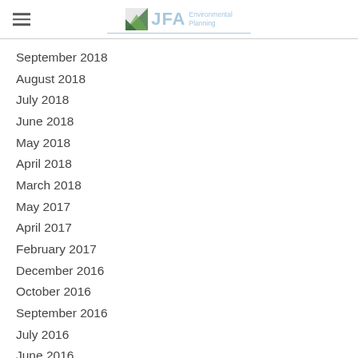JFA Environmental Planning
September 2018
August 2018
July 2018
June 2018
May 2018
April 2018
March 2018
May 2017
April 2017
February 2017
December 2016
October 2016
September 2016
July 2016
June 2016
May 2016
April 2016